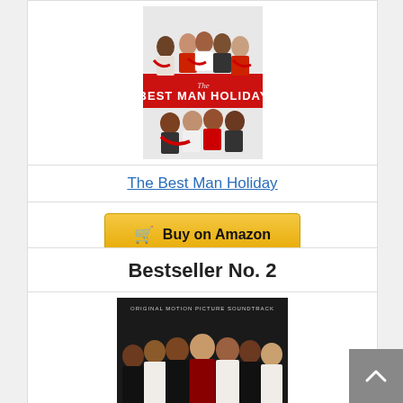[Figure (photo): Movie poster for The Best Man Holiday showing cast members with red scarves on white background]
The Best Man Holiday
Buy on Amazon
Bestseller No. 2
[Figure (photo): Original motion picture soundtrack album cover for The Best Man Holiday showing cast in formal attire]